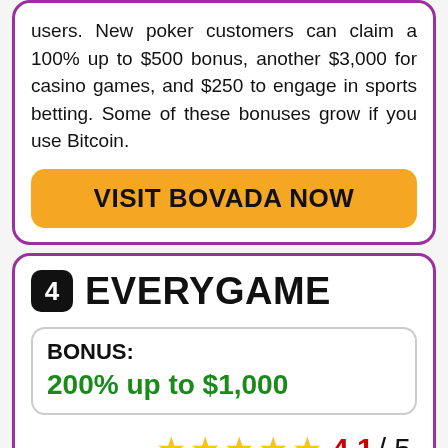users. New poker customers can claim a 100% up to $500 bonus, another $3,000 for casino games, and $250 to engage in sports betting. Some of these bonuses grow if you use Bitcoin.
VISIT BOVADA NOW
4 EVERYGAME
BONUS: 200% up to $1,000
4.1 / 5